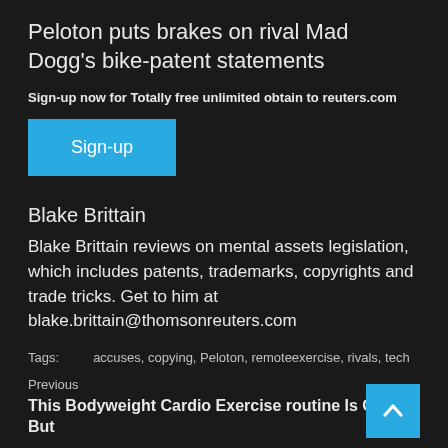Peloton puts brakes on rival Mad Dogg’s bike-patent statements
Sign-up now for Totally free unlimited obtain to reuters.com
[Figure (other): Blue Sign-up button]
Blake Brittain
Blake Brittain reviews on mental assets legislation, which includes patents, trademarks, copyrights and trade tricks. Get to him at blake.brittain@thomsonreuters.com
Tags:      accuses, copying, Peloton, remoteexercise, rivals, tech
Previous
This Bodyweight Cardio Exercise routine Is Quick But